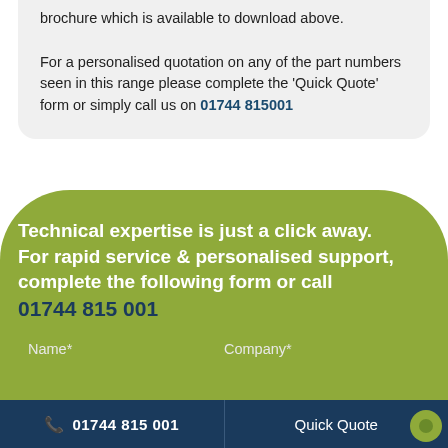brochure which is available to download above.

For a personalised quotation on any of the part numbers seen in this range please complete the 'Quick Quote' form or simply call us on 01744 815001
Technical expertise is just a click away. For rapid service & personalised support, complete the following form or call 01744 815 001
Name*
Company*
📞 01744 815 001   Quick Quote